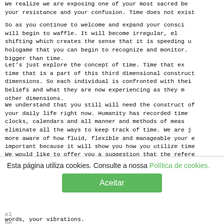We realize we are exposing one of your most sacred be... your resistance and your confusion. Time does not exist...
So as you continue to welcome and expand your consci... will begin to waffle. It will become irregular, el... shifting which creates the sense that it is speeding u... hologame that you can begin to recognize and monitor.... bigger than time.
Let's just explore the concept of time. Time that ex... time that is a part of this third dimensional construct... dimensions. So each individual is confronted with thei... beliefs and what they are now experiencing as they m... other dimensions.
We understand that you still will need the construct of... your daily life right now. Humanity has recorded time... clocks, calendars and all manner and methods of meas... eliminate all the ways to keep track of time. We are j... more aware of how fluid, flexible and manageable your e... important because it will show you how you utilize time...
We would like to offer you a suggestion that the refere... you locked into a limited reality. Time is a concept h... words about time continue to keep you in a mind-set o... common in your reality are: not enough time, time is...
words, your vibrations.
Esta página utiliza cookies. Consulte a nossa Política de cookies.
Aceitar